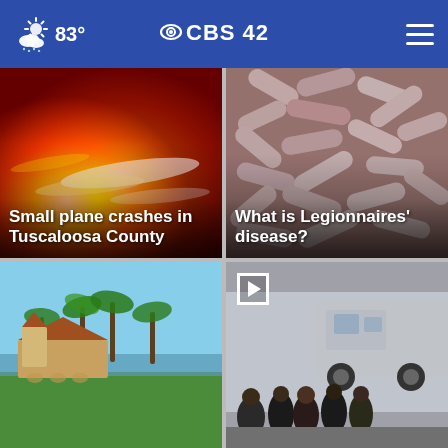CBS 42 — 83°
[Figure (photo): Orange-red fire/light streaks photo background with news headline overlay: Small plane crashes in Tuscaloosa County]
[Figure (photo): Close-up microscope image of pink rod-shaped bacteria (Legionella) with news headline overlay: What is Legionnaires' disease?]
[Figure (photo): Aerial view of a large estate building with palm trees and green grounds]
[Figure (photo): Group of people standing in front of a fire truck/emergency vehicle, with a video play button overlay]